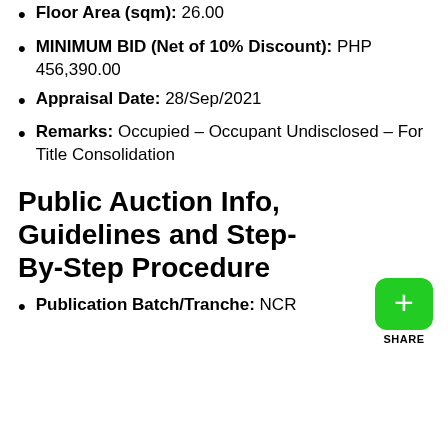Floor Area (sqm): 26.00
MINIMUM BID (Net of 10% Discount): PHP 456,390.00
Appraisal Date: 28/Sep/2021
Remarks: Occupied – Occupant Undisclosed – For Title Consolidation
Public Auction Info, Guidelines and Step-By-Step Procedure
Publication Batch/Tranche: NCR